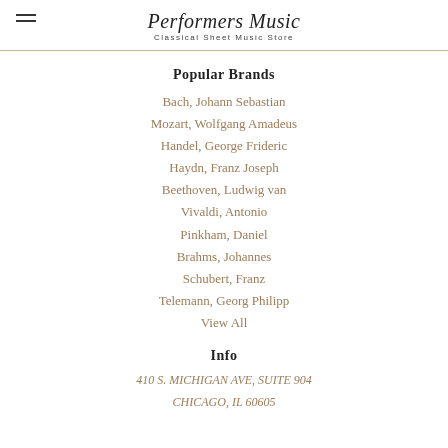Performers Music — Classical Sheet Music Store
Popular Brands
Bach, Johann Sebastian
Mozart, Wolfgang Amadeus
Handel, George Frideric
Haydn, Franz Joseph
Beethoven, Ludwig van
Vivaldi, Antonio
Pinkham, Daniel
Brahms, Johannes
Schubert, Franz
Telemann, Georg Philipp
View All
Info
410 S. MICHIGAN AVE, SUITE 904
CHICAGO, IL 60605